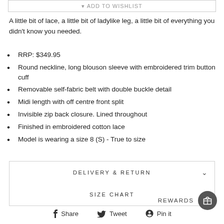A little bit of lace, a little bit of ladylike leg, a little bit of everything you didn't know you needed.
RRP: $349.95
Round neckline, long blouson sleeve with embroidered trim button cuff
Removable self-fabric belt with double buckle detail
Midi length with off centre front split
Invisible zip back closure. Lined throughout
Finished in embroidered cotton lace
Model is wearing a size 8 (S) - True to size
DELIVERY & RETURN
SIZE CHART
REWARDS
Share   Tweet   Pin it